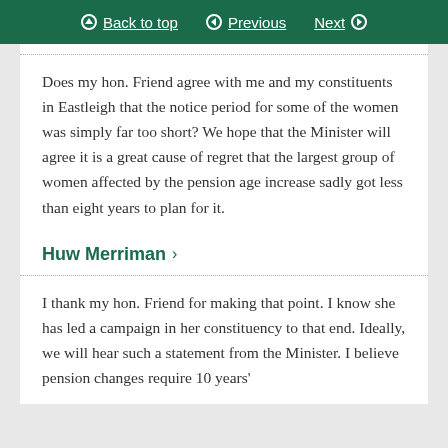Back to top | Previous | Next
Does my hon. Friend agree with me and my constituents in Eastleigh that the notice period for some of the women was simply far too short? We hope that the Minister will agree it is a great cause of regret that the largest group of women affected by the pension age increase sadly got less than eight years to plan for it.
Huw Merriman
I thank my hon. Friend for making that point. I know she has led a campaign in her constituency to that end. Ideally, we will hear such a statement from the Minister. I believe pension changes require 10 years'